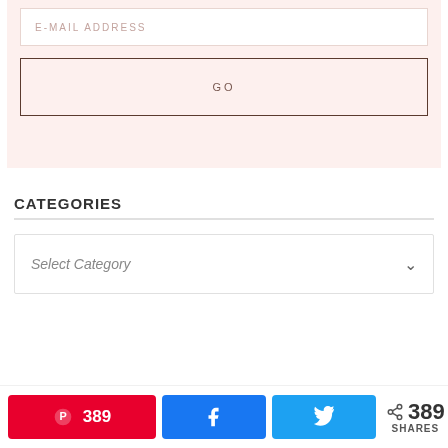[Figure (screenshot): Email address input field with placeholder text 'E-MAIL ADDRESS' on a pink background]
[Figure (screenshot): GO button with dark border on pink background]
CATEGORIES
[Figure (screenshot): Select Category dropdown with chevron arrow]
[Figure (infographic): Social share bar: Pinterest button with 389 count, Facebook button, Twitter button, share icon with 389 SHARES]